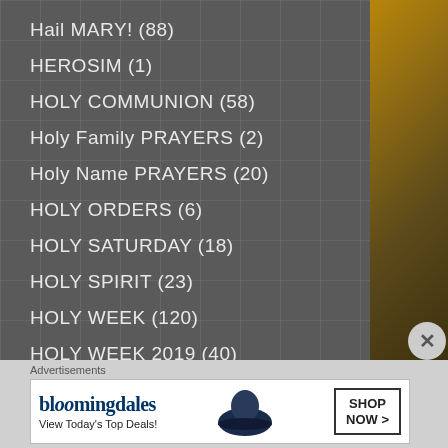Hail MARY! (88)
HEROSIM (1)
HOLY COMMUNION (58)
Holy Family PRAYERS (2)
Holy Name PRAYERS (20)
HOLY ORDERS (6)
HOLY SATURDAY (18)
HOLY SPIRIT (23)
HOLY WEEK (120)
HOLY WEEK 2019 (40)
HOMILIES (23)
Advertisements
[Figure (screenshot): Bloomingdales advertisement banner: 'View Today's Top Deals!' with SHOP NOW > button and woman with hat image]